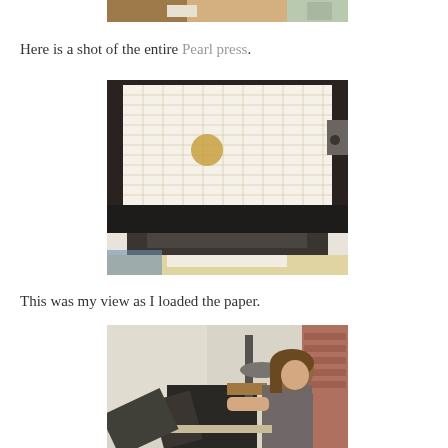[Figure (photo): Partial top of a photo showing a wooden surface and objects, cropped at top of page]
Here is a shot of the entire Pearl press.
[Figure (photo): Top-down view of the entire Pearl letterpress printing machine showing a grid-paper chase with a circular element, black frame, and workspace below]
This was my view as I loaded the paper.
[Figure (photo): A woman with brown hair wearing a gray shirt working at a letterpress printing machine in a studio setting]